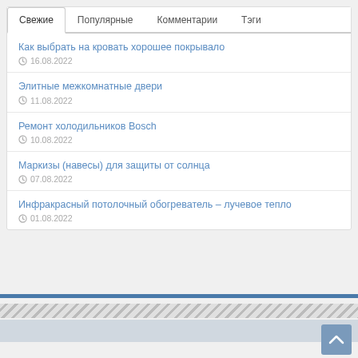Свежие | Популярные | Комментарии | Тэги
Как выбрать на кровать хорошее покрывало
16.08.2022
Элитные межкомнатные двери
11.08.2022
Ремонт холодильников Bosch
10.08.2022
Маркизы (навесы) для защиты от солнца
07.08.2022
Инфракрасный потолочный обогреватель – лучевое тепло
01.08.2022